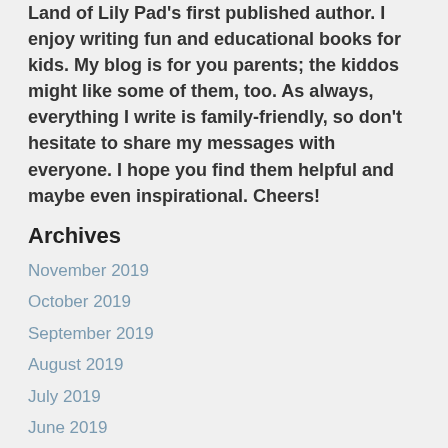Land of Lily Pad's first published author. I enjoy writing fun and educational books for kids. My blog is for you parents; the kiddos might like some of them, too. As always, everything I write is family-friendly, so don't hesitate to share my messages with everyone. I hope you find them helpful and maybe even inspirational. Cheers!
Archives
November 2019
October 2019
September 2019
August 2019
July 2019
June 2019
May 2019
April 2019
March 2019
February 2019
January 2019